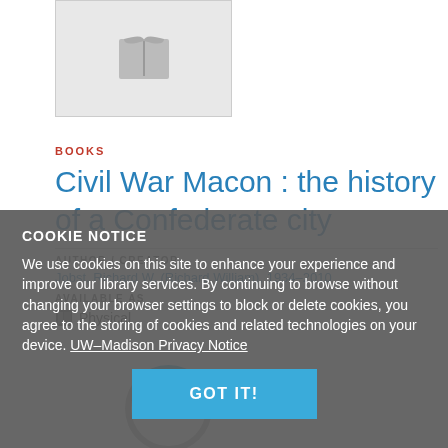[Figure (illustration): Book cover placeholder with grey background and open book icon]
BOOKS
Civil War Macon : the history of a Confederate city
AUTHOR / CREATOR
Jobst, Richard W. (Richard William), 1934-2010
AVAILABLE AS
Physical
COOKIE NOTICE
We use cookies on this site to enhance your experience and improve our library services. By continuing to browse without changing your browser settings to block or delete cookies, you agree to the storing of cookies and related technologies on your device. UW–Madison Privacy Notice
GOT IT!